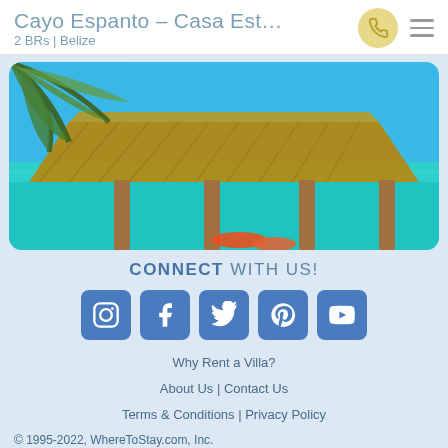Cayo Espanto - Casa Est... | 2 BRs | Belize
[Figure (photo): Tropical beach scene with a thatched-roof palapa hut on stilts over turquoise water, with palm fronds in the foreground and orange chairs visible beneath the hut.]
CONNECT WITH US!
[Figure (infographic): Row of five blue social media icon buttons: Instagram, Facebook, Twitter, Pinterest, YouTube]
Why Rent a Villa?
About Us | Contact Us
Terms & Conditions | Privacy Policy
© 1995-2022, WhereToStay.com, Inc.